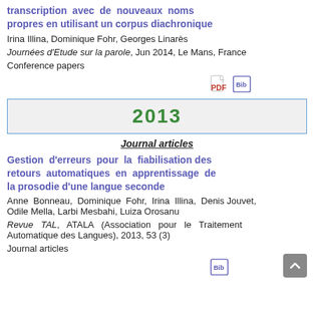transcription avec de nouveaux noms propres en utilisant un corpus diachronique
Irina Illina, Dominique Fohr, Georges Linarès
Journées d'Etude sur la parole, Jun 2014, Le Mans, France
Conference papers
[Figure (other): PDF and Bib icons]
2013
Journal articles
Gestion d'erreurs pour la fiabilisation des retours automatiques en apprentissage de la prosodie d'une langue seconde
Anne Bonneau, Dominique Fohr, Irina Illina, Denis Jouvet, Odile Mella, Larbi Mesbahi, Luiza Orosanu
Revue TAL, ATALA (Association pour le Traitement Automatique des Langues), 2013, 53 (3)
Journal articles
[Figure (other): Bib icon]